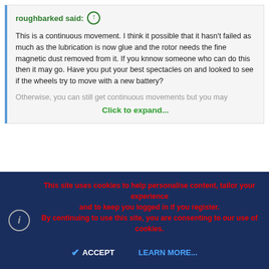roughbarked said: ↑
This is a continuous movement. I think it possible that it hasn't failed as much as the lubrication is now glue and the rotor needs the fine magnetic dust removed from it. If you knnow someone who can do this then it may go. Have you put your best spectacles on and looked to see if the wheels try to move with a new battery?
Otherwise, you can still get continuous movements but you may
Click to expand...
I would like to thank everyone for all the suggestions on trying to get this clock working again. I will just keep my eyes open for a replacement movement that will work in this clock. Thanks again for all the help.
This site uses cookies to help personalise content, tailor your experience and to keep you logged in if you register. By continuing to use this site, you are consenting to our use of cookies.
ACCEPT
LEARN MORE...